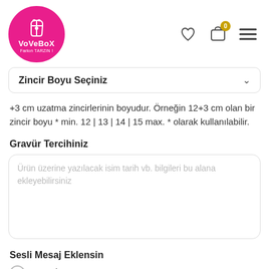[Figure (logo): VoVeBoX logo — pink circle with white icon (gift box with heart) and white text 'VoVeBoX / Farkın TARZIN!']
[Figure (infographic): Navigation icons: heart/wishlist icon, cart icon with badge showing 0, hamburger menu icon]
Zincir Boyu Seçiniz (dropdown)
+3 cm uzatma zincirlerinin boyudur. Örneğin 12+3 cm olan bir zincir boyu * min. 12 | 13 | 14 | 15 max. * olarak kullanılabilir.
Gravür Tercihiniz
Ürün üzerine yazılacak isim tarih vb. bilgileri bu alana ekleyebilirsiniz
Sesli Mesaj Eklensin
Hayır İstemiyorum